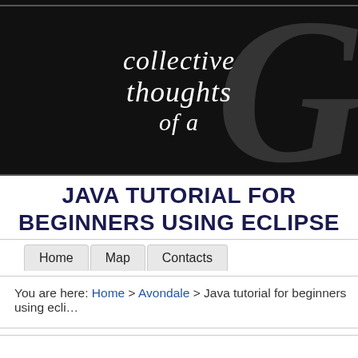[Figure (screenshot): Website header banner with black background showing decorative italic script text 'collective thoughts of a' and a large decorative letter G in the background]
JAVA TUTORIAL FOR BEGINNERS USING ECLIPSE
Home
Map
Contacts
You are here: Home > Avondale > Java tutorial for beginners using ecli…